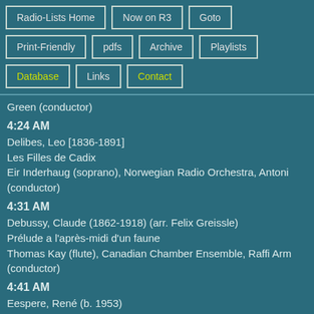Radio-Lists Home
Now on R3
Goto
Print-Friendly
pdfs
Archive
Playlists
Database
Links
Contact
Green (conductor)
4:24 AM
Delibes, Leo [1836-1891]
Les Filles de Cadix
Eir Inderhaug (soprano), Norwegian Radio Orchestra, Antoni (conductor)
4:31 AM
Debussy, Claude (1862-1918) (arr. Felix Greissle)
Prélude a l'après-midi d'un faune
Thomas Kay (flute), Canadian Chamber Ensemble, Raffi Arm (conductor)
4:41 AM
Eespere, René (b. 1953)
Festina lente
Talinn Music High School Chamber Choir, Evi Eespere (direc
4:49 AM